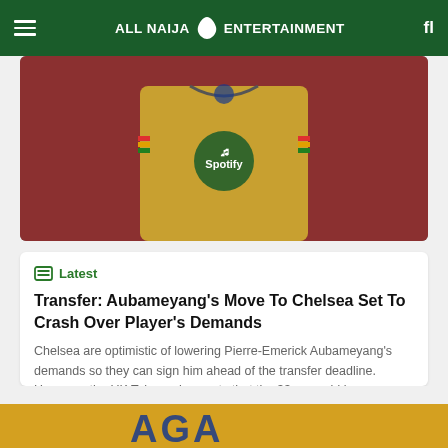ALL NAIJA ENTERTAINMENT
[Figure (photo): Soccer player wearing a yellow Spotify-branded Barcelona jersey, cropped to show torso]
Latest
Transfer: Aubameyang's Move To Chelsea Set To Crash Over Player's Demands
Chelsea are optimistic of lowering Pierre-Emerick Aubameyang's demands so they can sign him ahead of the transfer deadline. However, the UK Telegraph reports that the 33-year-old is demanding a three-year contract at Stamford Bridge, which the Blues are not prepared to offer. Chelsea have also not met Barcelona's £25.6m asking price, but this is believed [...]
All Naija Entertainment  10 min
[Figure (photo): Partially visible image at bottom of page, showing yellow/blue content, text partially visible: AGA]